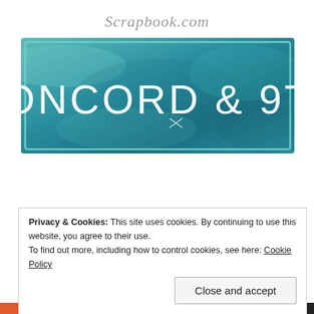Scrapbook.com
[Figure (logo): Concord & 9TH brand banner with teal/watercolor background and white text reading CONCORD & 9TH]
Favorite Links
Privacy & Cookies: This site uses cookies. By continuing to use this website, you agree to their use.
To find out more, including how to control cookies, see here: Cookie Policy
Close and accept